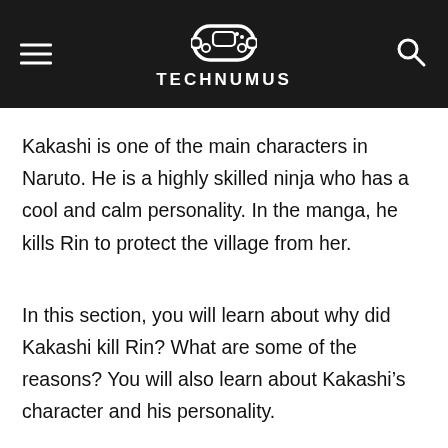TECHNUMUS
Kakashi is one of the main characters in Naruto. He is a highly skilled ninja who has a cool and calm personality. In the manga, he kills Rin to protect the village from her.
In this section, you will learn about why did Kakashi kill Rin? What are some of the reasons? You will also learn about Kakashi’s character and his personality.